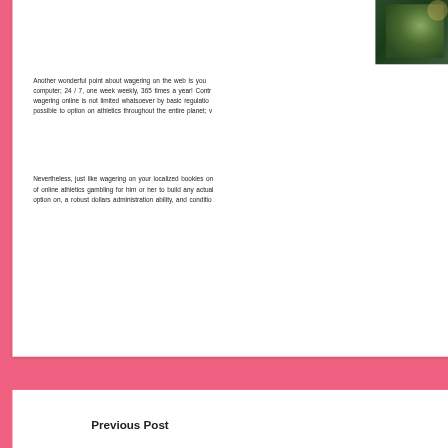[Figure (photo): Partial photo in top-right corner showing dark green background, possibly a casino table or outdoor scene]
Another wonderful point about wagering on the web is you computer; 24 / 7, one week weekly, 365 times a year! Contra wagering online is not limited whatsoever by basic regulation possible to option on athletics throughout the entire planet; v
Nevertheless, just like wagering on your localized bookies on of online athletics gambling for him or her to build any actual option on, a robust dollars administration ability, and conditio
Previous Post